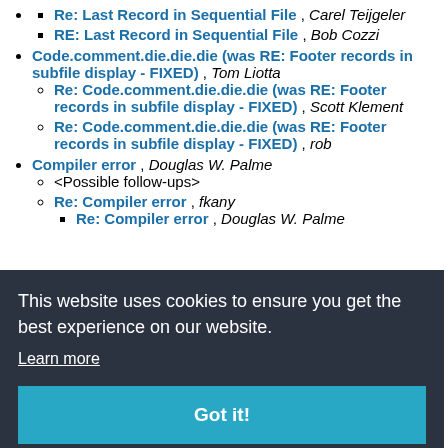Re: Last Record in Sequential File , Carel Teijgeler
RE: Last Record in Sequential File , Bob Cozzi
Code.comment.die.die.die (was RE: Footer records in subfile display - FIXED) , Tom Liotta
Re: Code.comment.die.die.die (was RE: Footer records in subfile display - FIXED) , Scott Klement
Re: Code.comment.die.die.die (was RE: Footer records in subfile display - FIXED) , rob
Compiler error , Douglas W. Palme
<Possible follow-ups>
Re: Compiler error , fkany
Re: Compiler error , Douglas W. Palme
This website uses cookies to ensure you get the best experience on our website. Learn more
Got it!
<Possible follow-ups>